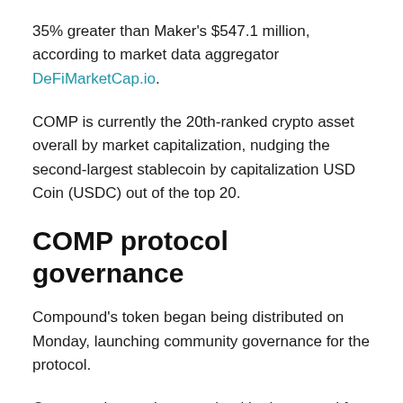35% greater than Maker's $547.1 million, according to market data aggregator DeFiMarketCap.io.
COMP is currently the 20th-ranked crypto asset overall by market capitalization, nudging the second-largest stablecoin by capitalization USD Coin (USDC) out of the top 20.
COMP protocol governance
Compound's token began being distributed on Monday, launching community governance for the protocol.
Compound comprises an algorithmic protocol for decentralized passive interest generation on Ethereum (ETH), with the project's ERC-20 token affording voting rights to holders and allowing them to propose alterations to the protocol's code.